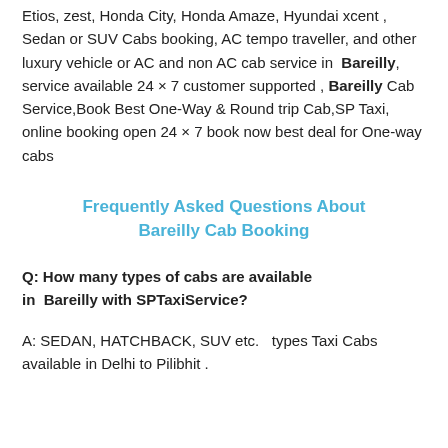Etios, zest, Honda City, Honda Amaze, Hyundai xcent , Sedan or SUV Cabs booking, AC tempo traveller, and other luxury vehicle or AC and non AC cab service in Bareilly , service available 24 × 7 customer supported , Bareilly Cab Service,Book Best One-Way & Round trip Cab,SP Taxi, online booking open 24 × 7 book now best deal for One-way cabs
Frequently Asked Questions About Bareilly Cab Booking
Q: How many types of cabs are available in Bareilly with SPTaxiService?
A: SEDAN, HATCHBACK, SUV etc.  types Taxi Cabs available in Delhi to Pilibhit .